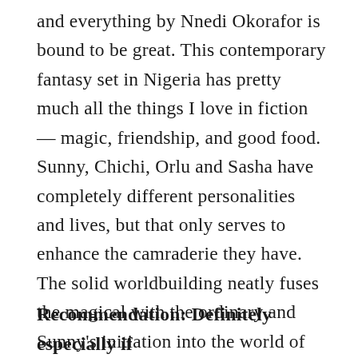and everything by Nnedi Okorafor is bound to be great. This contemporary fantasy set in Nigeria has pretty much all the things I love in fiction — magic, friendship, and good food. Sunny, Chichi, Orlu and Sasha have completely different personalities and lives, but that only serves to enhance the camraderie they have. The solid worldbuilding neatly fuses the magical with the ordinary and Sunny's initiation into the world of free agents, juju, and Leopard Knocks is fascinating to read. I only wish I had read this book sooner. I am definitely looking forward to the sequel Breaking Kola.
Recommendation: Definitely especially if